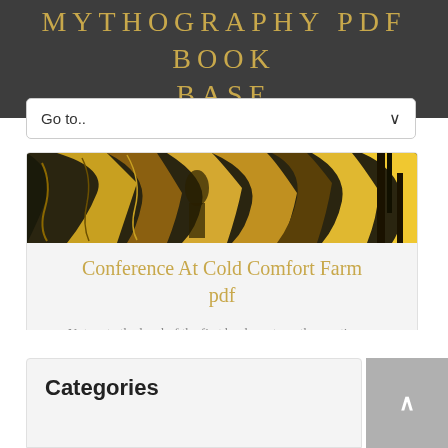MYTHOGRAPHY PDF BOOK BASE
Go to..
[Figure (illustration): Book cover art with golden and dark abstract design, showing figures and trees in gold, black and yellow tones]
Conference At Cold Comfort Farm pdf
Not up to the level of the first book--not worth your time....
Categories